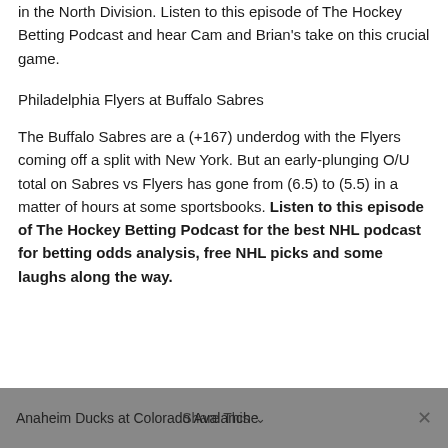in the North Division. Listen to this episode of The Hockey Betting Podcast and hear Cam and Brian's take on this crucial game.
Philadelphia Flyers at Buffalo Sabres
The Buffalo Sabres are a (+167) underdog with the Flyers coming off a split with New York. But an early-plunging O/U total on Sabres vs Flyers has gone from (6.5) to (5.5) in a matter of hours at some sportsbooks. Listen to this episode of The Hockey Betting Podcast for the best NHL podcast for betting odds analysis, free NHL picks and some laughs along the way.
Anaheim Ducks at Colorado Avalanche
Share This ✕